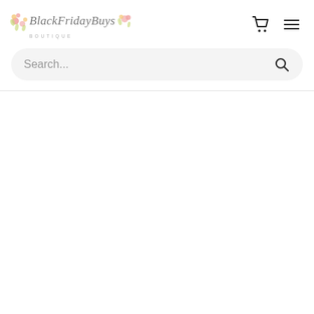BlackFridayBuys Boutique
[Figure (screenshot): Search bar with placeholder text 'Search...' and a search icon on the right, on a light gray rounded background]